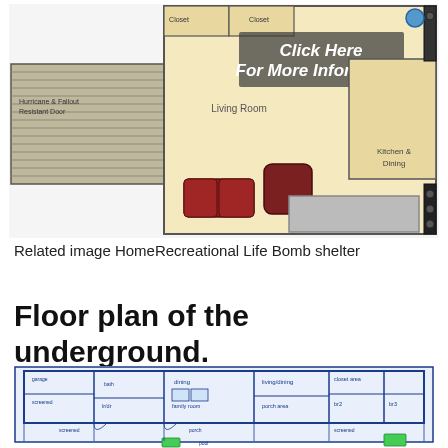[Figure (schematic): Floor plan schematic of a home/bomb shelter showing living room, kitchen & dining areas, with staircase on the left side. Text overlay reads 'Click Here For More Information'. Warm beige/yellow tones with furniture illustrated.]
Related image HomeRecreational Life Bomb shelter
Floor plan of the underground.
[Figure (engineering-diagram): Detailed blueprint-style floor plan of an underground shelter with multiple rooms labeled including bedrooms (br1, br2, br3), family room, dining, kitchen area, closet area, bath, porch area, screened porch, screened areas, and a pool area with green furniture at the bottom. Blue line technical drawing style on white background.]